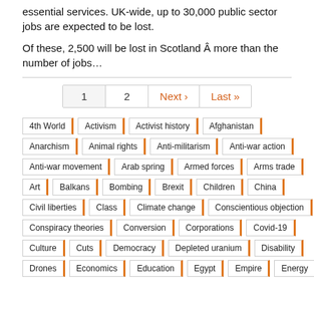essential services. UK-wide, up to 30,000 public sector jobs are expected to be lost.
Of these, 2,500 will be lost in Scotland Â more than the number of jobs…
1 | 2 | Next › | Last »
4th World | Activism | Activist history | Afghanistan
Anarchism | Animal rights | Anti-militarism | Anti-war action
Anti-war movement | Arab spring | Armed forces | Arms trade
Art | Balkans | Bombing | Brexit | Children | China
Civil liberties | Class | Climate change | Conscientious objection
Conspiracy theories | Conversion | Corporations | Covid-19
Culture | Cuts | Democracy | Depleted uranium | Disability
Drones | Economics | Education | Egypt | Empire | Energy